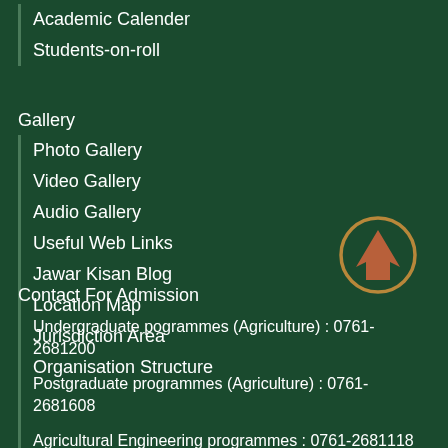Academic Calender
Students-on-roll
Gallery
Photo Gallery
Video Gallery
Audio Gallery
Useful Web Links
Jawar Kisan Blog
Location Map
Jurisdiction Area
Organisation Structure
[Figure (illustration): Orange up-arrow icon with circular border on dark green background]
Contact For Admission
Undergraduate pogrammes (Agriculture) : 0761-2681200
Postgraduate programmes (Agriculture) : 0761-2681608
Agricultural Engineering programmes : 0761-2681118